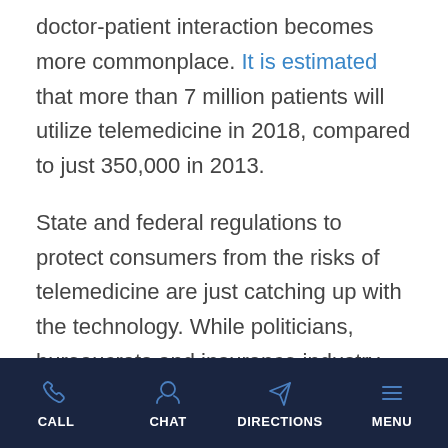doctor-patient interaction becomes more commonplace. It is estimated that more than 7 million patients will utilize telemedicine in 2018, compared to just 350,000 in 2013.
State and federal regulations to protect consumers from the risks of telemedicine are just catching up with the technology. While politicians, bureaucrats and insurance industry lobbyists debate over the necessary precautions, hundreds of thousands of people are being treated through telemedicine with various degrees of f...
CALL   CHAT   DIRECTIONS   MENU